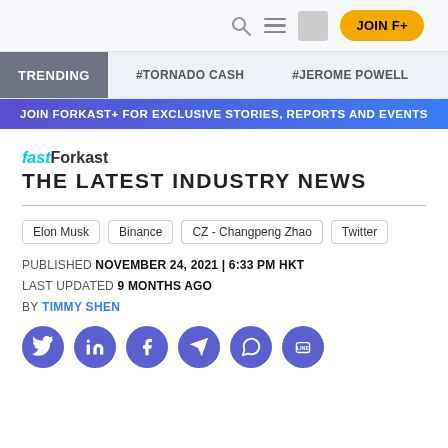JOIN F+
TRENDING  #TORNADO CASH  #JEROME POWELL
JOIN FORKAST+ FOR EXCLUSIVE STORIES, REPORTS AND EVENTS
fastForkast
THE LATEST INDUSTRY NEWS
Elon Musk  Binance  CZ - Changpeng Zhao  Twitter
PUBLISHED NOVEMBER 24, 2021 | 6:33 PM HKT
LAST UPDATED 9 MONTHS AGO
BY TIMMY SHEN
[Figure (infographic): Social share icons: Twitter, LinkedIn, Facebook, Telegram, WhatsApp, Line - purple circles]